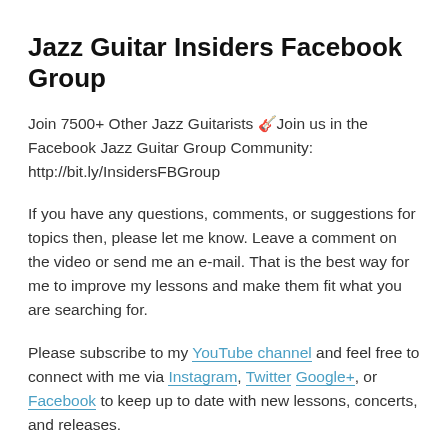Jazz Guitar Insiders Facebook Group
Join 7500+ Other Jazz Guitarists 🎸Join us in the Facebook Jazz Guitar Group Community: http://bit.ly/InsidersFBGroup
If you have any questions, comments, or suggestions for topics then, please let me know. Leave a comment on the video or send me an e-mail. That is the best way for me to improve my lessons and make them fit what you are searching for.
Please subscribe to my YouTube channel and feel free to connect with me via Instagram, Twitter Google+, or Facebook to keep up to date with new lessons, concerts, and releases.
This entry was posted in Blog, Lesson and tagged guitar lesson, guitar solo lesson, how to play jazz guitar, jazz guitar, jazz guitar